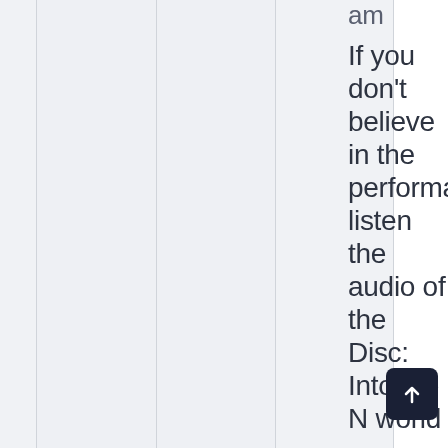am If you don't believe in the performa listen the audio of the Disc: Into the N world
[Figure (other): Scroll-to-top button (dark rounded square with upward arrow icon)]